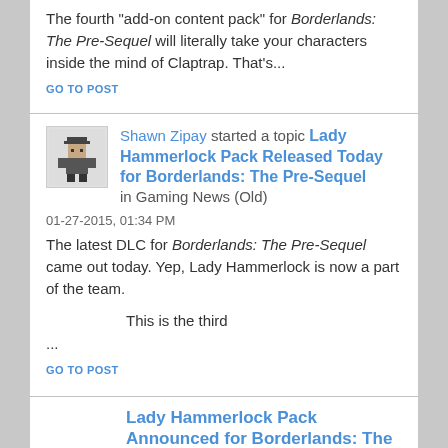The fourth "add-on content pack" for Borderlands: The Pre-Sequel will literally take your characters inside the mind of Claptrap. That's...
GO TO POST
Shawn Zipay started a topic Lady Hammerlock Pack Released Today for Borderlands: The Pre-Sequel in Gaming News (Old)
01-27-2015, 01:34 PM
The latest DLC for Borderlands: The Pre-Sequel came out today. Yep, Lady Hammerlock is now a part of the team.
This is the third
...
GO TO POST
Lady Hammerlock Pack Announced for Borderlands: The Pre-Sequel